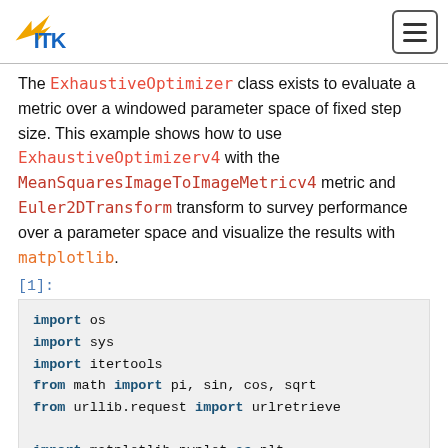ITK logo and navigation hamburger menu
The ExhaustiveOptimizer class exists to evaluate a metric over a windowed parameter space of fixed step size. This example shows how to use ExhaustiveOptimizerv4 with the MeanSquaresImageToImageMetricv4 metric and Euler2DTransform transform to survey performance over a parameter space and visualize the results with matplotlib.
[1]:
import os
import sys
import itertools
from math import pi, sin, cos, sqrt
from urllib.request import urlretrieve

import matplotlib.pyplot as plt
import numpy as np

import itk
from itkwidgets import view, compare, checkerboard,